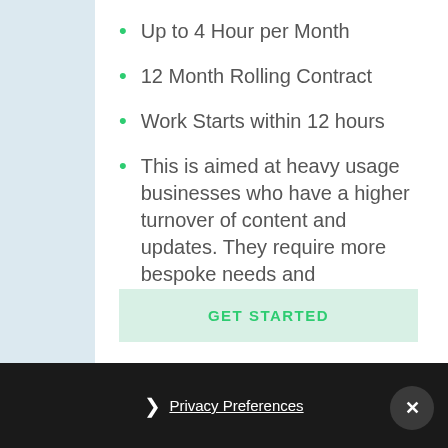Up to 4 Hour per Month
12 Month Rolling Contract
Work Starts within 12 hours
This is aimed at heavy usage businesses who have a higher turnover of content and updates. They require more bespoke needs and functionality.
GET STARTED
❯ Privacy Preferences